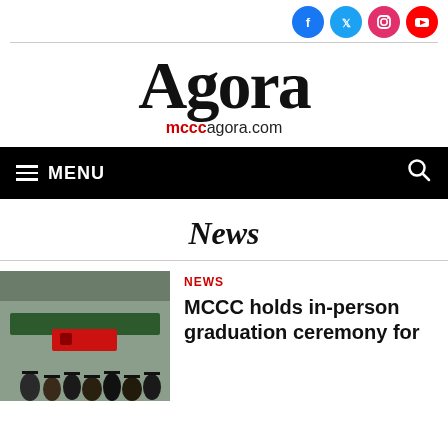[Figure (logo): Social media icons: Facebook (blue circle), Twitter (blue circle), Instagram (pink/red circle), YouTube (red circle)]
Agora
mcccagora.com
☰ MENU
News
[Figure (photo): Graduation ceremony photo showing graduates and a red banner in front of a building with a green awning]
NEWS
MCCC holds in-person graduation ceremony for